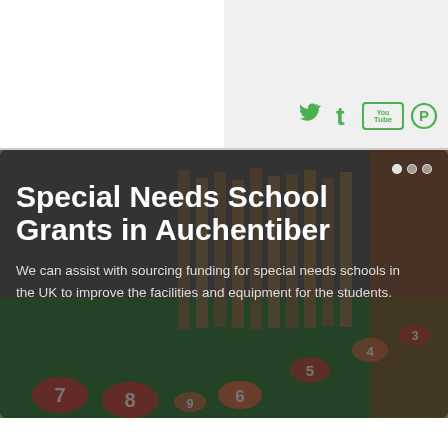[Figure (other): Social media icons: Twitter bird, Tumblr 't', YouTube box, Pinterest circle — all in green, displayed in the top-right grey area]
[Figure (photo): School playground photo showing wooden climbing frame/posts and a green rubber surface with numbered footprints/spots in red, orange, yellow. Overlaid with dark semi-transparent box containing title and description text.]
Special Needs School Grants in Auchentiber
We can assist with sourcing funding for special needs schools in the UK to improve the facilities and equipment for the students.